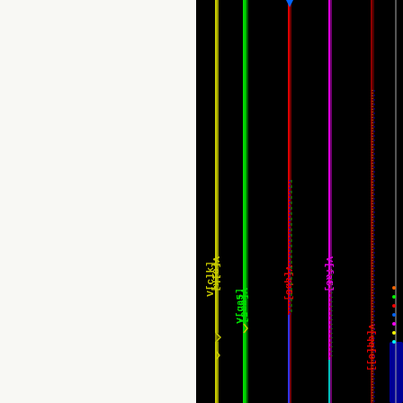[Figure (engineering-diagram): Electronic circuit simulation waveform viewer (e.g. SPICE or similar EDA tool) showing multiple signal traces on a black background. Each trace is a vertical colored line representing a different signal. Visible signals from left to right include: V[clk] (yellow-green), V[qa5] (green), V[qa4] (yellow-green), V[qa3] (yellow, partial), V[qb5] (red), V[qb4] (blue), V[qb3] (green), V[fa5] (magenta/pink), V[fa4] (cyan), V[fa3] (red), V[qq[0]] (red, partial). The left half of the page is white/blank (possibly a legend or signal name list area). Signal traces show switching transitions at different time points.]